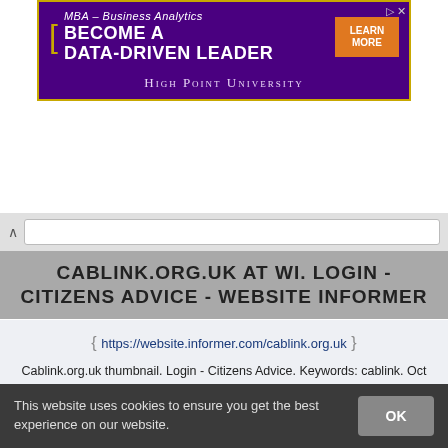[Figure (screenshot): Advertisement banner for High Point University MBA Business Analytics program with purple background and orange button saying LEARN MORE]
CABLINK.ORG.UK AT WI. LOGIN - CITIZENS ADVICE - WEBSITE INFORMER
https://website.informer.com/cablink.org.uk
Cablink.org.uk thumbnail. Login - Citizens Advice. Keywords: cablink. Oct 7, 2019. Created: 2001-05-15. Expires: 2019-05-15. Owner: National Association of ...
STATUS: ONLINE
VIEW
MORE
This website uses cookies to ensure you get the best experience on our website.